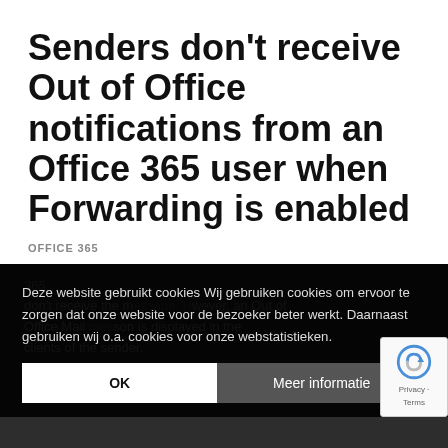Senders don't receive Out of Office notifications from an Office 365 user when Forwarding is enabled
OFFICE 365
Deze website gebruikt cookies Wij gebruiken cookies om ervoor te zorgen dat onze website voor de bezoeker beter werkt. Daarnaast gebruiken wij o.a. cookies voor onze webstatistieken.
don't receive the n...wever, an Out of Office Mail...son is displayed in the clients of the sender.